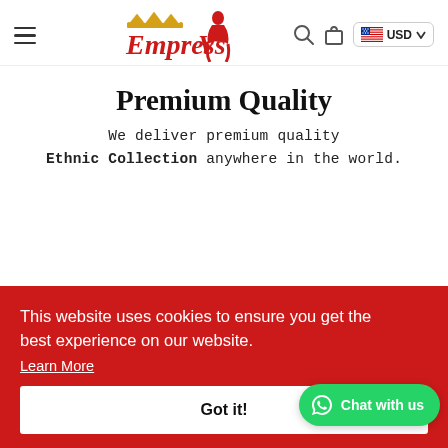[Figure (logo): Empress V logo with crown and red silhouette of a woman]
We deliver premium quality Ethnic Collection anywhere in the world.
Premium Quality
This website uses cookies to ensure you get the best experience on our website. Learn More
Got it!